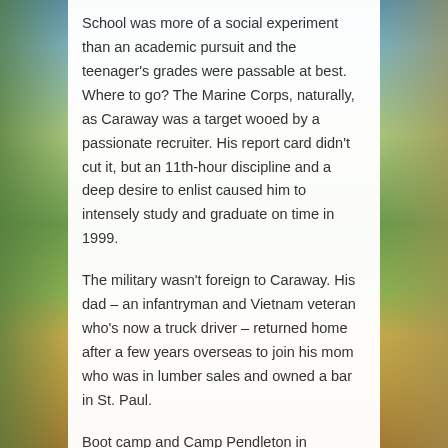School was more of a social experiment than an academic pursuit and the teenager's grades were passable at best. Where to go? The Marine Corps, naturally, as Caraway was a target wooed by a passionate recruiter. His report card didn't cut it, but an 11th-hour discipline and a deep desire to enlist caused him to intensely study and graduate on time in 1999.
The military wasn't foreign to Caraway. His dad – an infantryman and Vietnam veteran who's now a truck driver – returned home after a few years overseas to join his mom who was in lumber sales and owned a bar in St. Paul.
Boot camp and Camp Pendleton in California called, and Caraway's specialty was all things motor transport. Not everyone is on the front lines in combat. A meritorious promotion sent Caraway to Miramar and Kuwait in logistics capacities where he staged military bases. Scud